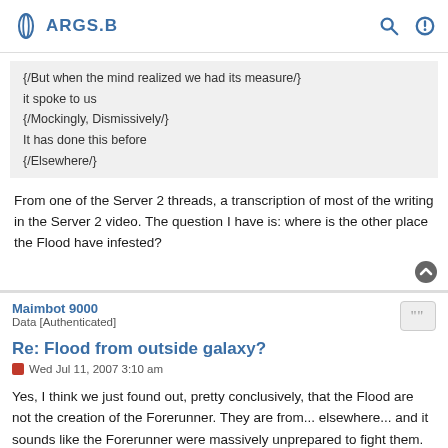ARGS.B
{/But when the mind realized we had its measure/}
it spoke to us
{/Mockingly, Dismissively/}
It has done this before
{/Elsewhere/}
From one of the Server 2 threads, a transcription of most of the writing in the Server 2 video. The question I have is: where is the other place the Flood have infested?
Maimbot 9000
Data [Authenticated]
Re: Flood from outside galaxy?
Wed Jul 11, 2007 3:10 am
Yes, I think we just found out, pretty conclusively, that the Flood are not the creation of the Forerunner. They are from... elsewhere... and it sounds like the Forerunner were massively unprepared to fight them.
I have to say I got chills watching that video, learning that the Flood had conquered, I presume, other galaxies. That the infection is bigger than